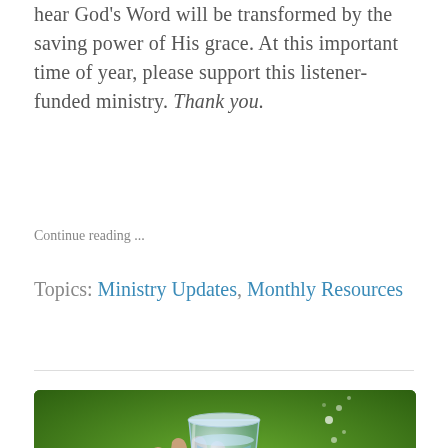hear God's Word will be transformed by the saving power of His grace. At this important time of year, please support this listener-funded ministry. Thank you.
Continue reading ...
Topics: Ministry Updates, Monthly Resources
[Figure (photo): A hand holding a glass of water with water droplets visible against a green background]